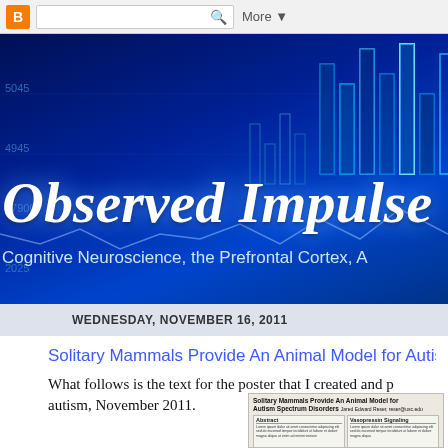Blogger navigation bar with search
[Figure (screenshot): Blog header banner with dark blue background showing financial chart graphics. Blog title 'Observed Impulse' in large bold italic white text. Subtitle: 'Cognitive Neuroscience, the Prefrontal Cortex, A']
Observed Impulse
Cognitive Neuroscience, the Prefrontal Cortex, A
WEDNESDAY, NOVEMBER 16, 2011
Solitary Mammals Provide An Animal Model for Autis
What follows is the text for the poster that I created and p autism, November 2011.
[Figure (photo): Thumbnail of academic poster titled 'Solitary Mammals Provide An Animal Model for Autism Spectrum Disorders' showing abstract and Vasopressin Signaling sections in columnar layout]